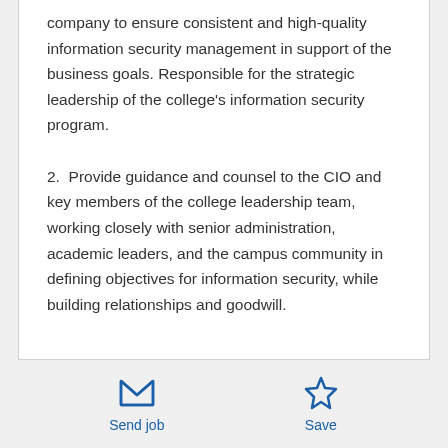company to ensure consistent and high-quality information security management in support of the business goals. Responsible for the strategic leadership of the college's information security program.
2.  Provide guidance and counsel to the CIO and key members of the college leadership team, working closely with senior administration, academic leaders, and the campus community in defining objectives for information security, while building relationships and goodwill.
Send job | Save